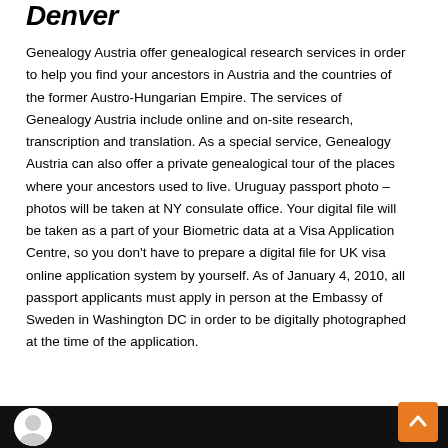Denver
Genealogy Austria offer genealogical research services in order to help you find your ancestors in Austria and the countries of the former Austro-Hungarian Empire. The services of Genealogy Austria include online and on-site research, transcription and translation. As a special service, Genealogy Austria can also offer a private genealogical tour of the places where your ancestors used to live. Uruguay passport photo – photos will be taken at NY consulate office. Your digital file will be taken as a part of your Biometric data at a Visa Application Centre, so you don't have to prepare a digital file for UK visa online application system by yourself. As of January 4, 2010, all passport applicants must apply in person at the Embassy of Sweden in Washington DC in order to be digitally photographed at the time of the application.